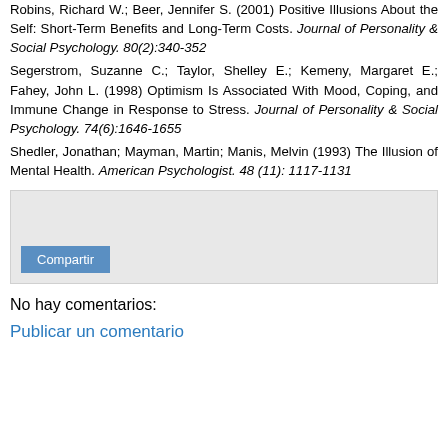Robins, Richard W.; Beer, Jennifer S. (2001) Positive Illusions About the Self: Short-Term Benefits and Long-Term Costs. Journal of Personality & Social Psychology. 80(2):340-352
Segerstrom, Suzanne C.; Taylor, Shelley E.; Kemeny, Margaret E.; Fahey, John L. (1998) Optimism Is Associated With Mood, Coping, and Immune Change in Response to Stress. Journal of Personality & Social Psychology. 74(6):1646-1655
Shedler, Jonathan; Mayman, Martin; Manis, Melvin (1993) The Illusion of Mental Health. American Psychologist. 48 (11): 1117-1131
[Figure (other): Share box with a 'Compartir' (Share) button in blue]
No hay comentarios:
Publicar un comentario